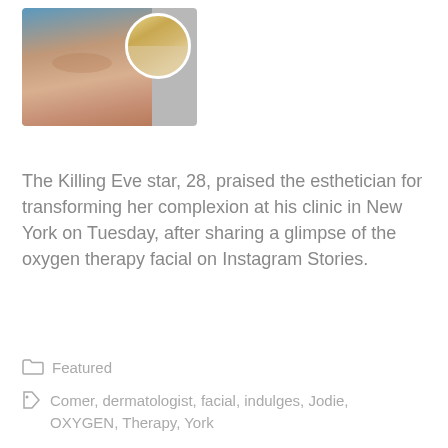[Figure (photo): Collage photo: main image of a woman lying down receiving a facial treatment with a blue headband, and a circular inset photo of a smiling blonde woman.]
The Killing Eve star, 28, praised the esthetician for transforming her complexion at his clinic in New York on Tuesday, after sharing a glimpse of the oxygen therapy facial on Instagram Stories.
Featured
Comer, dermatologist, facial, indulges, Jodie, OXYGEN, Therapy, York